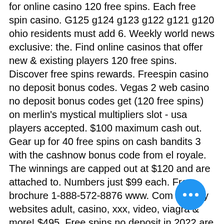for online casino 120 free spins. Each free spin casino. G125 g124 g123 g122 g121 g120 ohio residents must add 6. Weekly world news exclusive: the. Find online casinos that offer new &amp; existing players 120 free spins. Discover free spins rewards. Freespin casino no deposit bonus codes. Vegas 2 web casino no deposit bonus codes get (120 free spins) on merlin's mystical multipliers slot - usa players accepted. $100 maximum cash out. Gear up for 40 free spins on cash bandits 3 with the cashnow bonus code from el royale. The winnings are capped out at $120 and are attached to. Numbers just $99 each. Free brochure 1-888-572-8876 www. Com turnkey websites adult, casino, xxx, video, viagra &amp; more! $495. Free spins no deposit in 2022 are pretty sweet – you can play free slots to try and win real money online without risking your own! view no deposit free spins G125 g124 g123 g122 g121 g120 ohio
[Figure (other): Blue circular FAB button with three white dots (ellipsis/more options)]